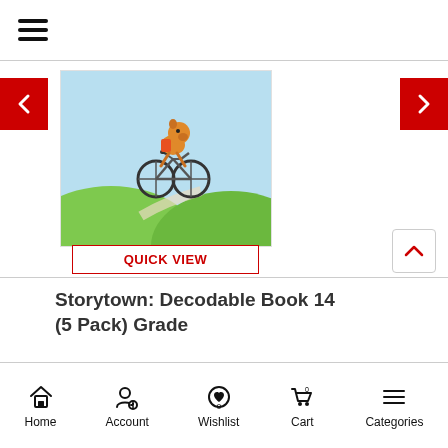[Figure (screenshot): Mobile e-commerce app screenshot showing a product page for Storytown: Decodable Book 14 (5 Pack) Grade with pricing Rs.2,586 and Rs.2,939]
QUICK VIEW
Storytown: Decodable Book 14 (5 Pack) Grade
Rs.2,586  Rs.2,939
Home  Account  Wishlist  Cart  Categories